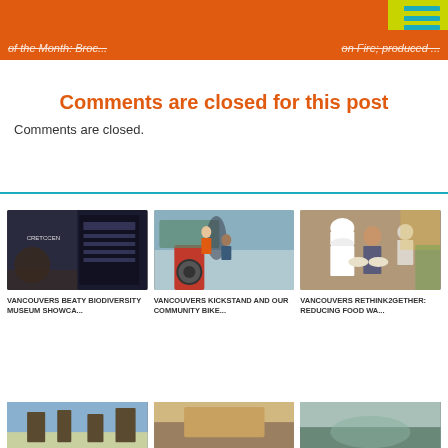of the Month: Broc... / on Fire; produced ...
Comments are closed for this post
Comments are closed.
[Figure (photo): Interior of Beaty Biodiversity Museum with exhibit displays]
VANCOUVERS BEATY BIODIVERSITY MUSEUM SHOWCA...
[Figure (photo): Person on bicycle at community bike event outdoors]
VANCOUVERS KICKSTAND AND OUR COMMUNITY BIKE...
[Figure (photo): Chef and woman looking at food in kitchen setting]
VANCOUVERS RETHINK2GETHER: REDUCING FOOD WA...
[Figure (photo): Partial photo bottom row left]
[Figure (photo): Partial photo bottom row center]
[Figure (photo): Partial photo bottom row right]